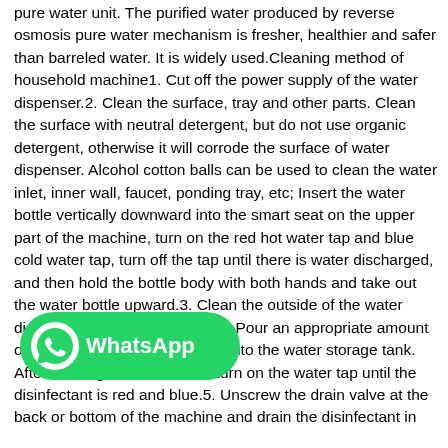pure water unit. The purified water produced by reverse osmosis pure water mechanism is fresher, healthier and safer than barreled water. It is widely used.Cleaning method of household machine1. Cut off the power supply of the water dispenser.2. Clean the surface, tray and other parts. Clean the surface with neutral detergent, but do not use organic detergent, otherwise it will corrode the surface of water dispenser. Alcohol cotton balls can be used to clean the water inlet, inner wall, faucet, ponding tray, etc; Insert the water bottle vertically downward into the smart seat on the upper part of the machine, turn on the red hot water tap and blue cold water tap, turn off the tap until there is water discharged, and then hold the bottle body with both hands and take out the water bottle upward.3. Clean the outside of the water dispenser and the smart seat.4. Pour an appropriate amount of special cleaning disinfectant into the water storage tank. After soaking for 10 minutes, turn on the water tap until the disinfectant is red and blue.5. Unscrew the drain valve at the back or bottom of the machine and drain the disinfectant in the water dispenser.6. Rinse repeatedly with clean water for several times.7. Tighten the drain valve and complete the disinfection and sterilization procedures.Detailed explanation
[Figure (logo): WhatsApp logo button — green rounded rectangle with WhatsApp phone icon and 'WhatsApp' text in white]